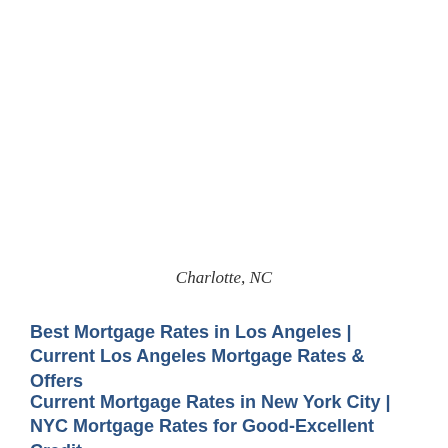Charlotte, NC
Best Mortgage Rates in Los Angeles | Current Los Angeles Mortgage Rates & Offers
Current Mortgage Rates in New York City | NYC Mortgage Rates for Good-Excellent Credit